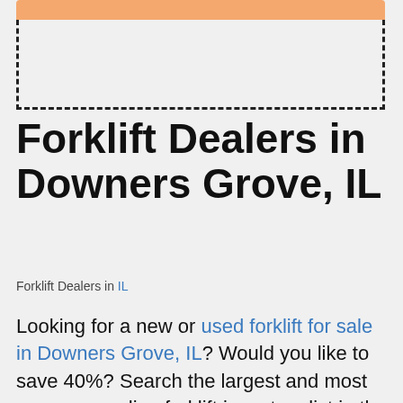[Figure (other): Orange bar and dashed rectangle box decoration at top of page]
Forklift Dealers in Downers Grove, IL
Forklift Dealers in IL
Looking for a new or used forklift for sale in Downers Grove, IL? Would you like to save 40%? Search the largest and most awesome online forklift inventory list in the United States right now! Compare top brands & models now like Yale, Hyster, Toyota, CAT, and more. Compare pricing on new & used forklifts instantly. We have only the most trusted & reliable forklift dealers in Downers Grove, IL. Check out our New & Used Forklift Inventory. Top Forklift Brands. Sit Down Riders. Free Quotes. Save tons of money on your new